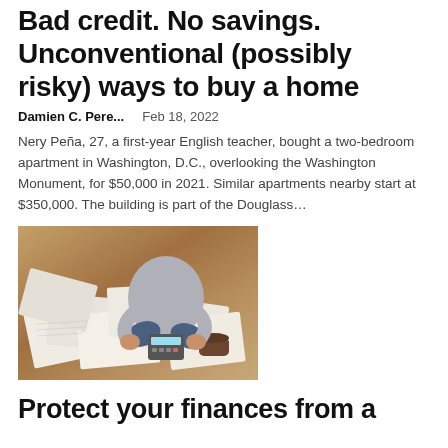Bad credit. No savings. Unconventional (possibly risky) ways to buy a home
Damien C. Pere...    Feb 18, 2022
Nery Peña, 27, a first-year English teacher, bought a two-bedroom apartment in Washington, D.C., overlooking the Washington Monument, for $50,000 in 2021. Similar apartments nearby start at $350,000. The building is part of the Douglass...
[Figure (photo): Overhead view of a person sitting cross-legged on a wooden floor surrounded by financial documents and papers, holding a calculator, with a coffee cup nearby.]
Protect your finances from a